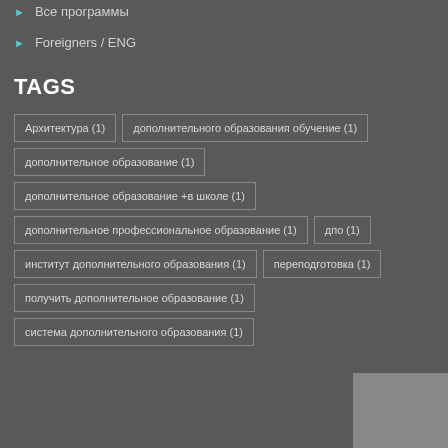Все программы
Foreigners / ENG
TAGS
Архитектура (1)
дополнительного образования обучение (1)
дополнительное образование (1)
дополнительное образование +в школе (1)
дополнительное профессиональное образование (1)
дпо (1)
институт дополнительного образования (1)
переподготовка (1)
получить дополнительное образование (1)
система дополнительного образования (1)